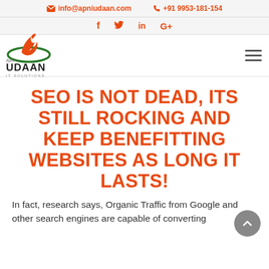info@apniudaan.com  +91 9953-181-154
f  twitter  in  G+
[Figure (logo): Apni Udaan IT Solutions logo with orange bird/flame graphic and dark text]
SEO IS NOT DEAD, ITS STILL ROCKING AND KEEP BENEFITTING WEBSITES AS LONG IT LASTS!
In fact, research says, Organic Traffic from Google and other search engines are capable of converting